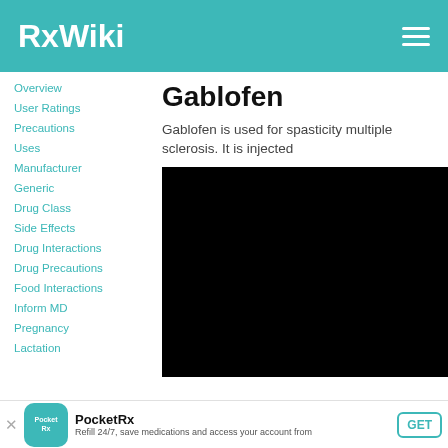RxWiki
Overview
User Ratings
Precautions
Uses
Manufacturer
Generic
Drug Class
Side Effects
Drug Interactions
Drug Precautions
Food Interactions
Inform MD
Pregnancy
Lactation
Gablofen
Gablofen is used for spasticity multiple sclerosis. It is injected
[Figure (photo): Black image placeholder for Gablofen drug photo]
PocketRx
Refill 24/7, save medications and access your account from our mobile app.